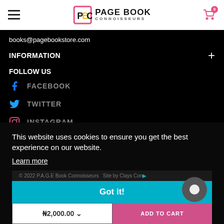PBC PAGE BOOK CONNOISSEURS
books@pagebookstore.com
INFORMATION +
FOLLOW US
FACEBOOK
TWITTER
INSTAGRAM
This website uses cookies to ensure you get the best experience on our website.
Learn more
© 2022 P.A.G.E Book Connoisseurs   Site by Clays Cons...
Got it!
₦2,000.00
ADD TO CART